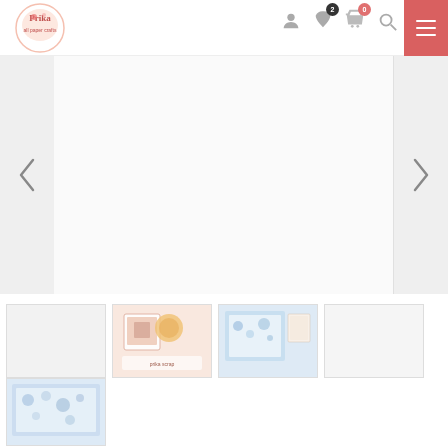[Figure (logo): Prika craft/scrapbooking shop logo, pink circular design with text]
[Figure (screenshot): Navigation bar with user icon, heart/wishlist icon with dark badge, shopping bag icon with red badge, search icon, and hamburger menu button in salmon/red color]
[Figure (screenshot): Main product image slider area with left and right navigation arrows, large white/light area in center showing product (appears blank/white in this view)]
[Figure (photo): Thumbnail 1: blank/placeholder light gray rectangle]
[Figure (photo): Thumbnail 2: scrapbooking/craft product photo showing cards and embellishments on peach/pink background]
[Figure (photo): Thumbnail 3: scrapbooking/craft product photo showing blue floral patterned papers and embellishments]
[Figure (photo): Thumbnail 4: blank/placeholder light rectangle]
[Figure (photo): Thumbnail 5: scrapbooking/craft product photo showing blue floral patterned fabric or paper flat lay]